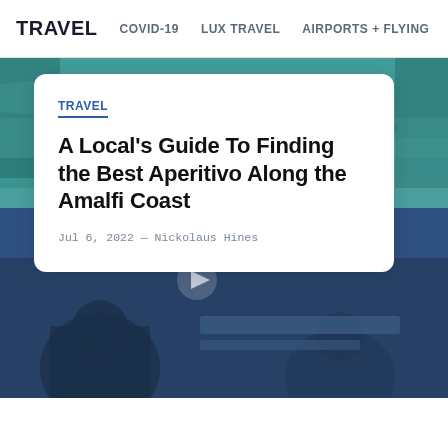TRAVEL   COVID-19   LUX TRAVEL   AIRPORTS + FLYING
TRAVEL
A Local’s Guide To Finding the Best Aperitivo Along the Amalfi Coast
Jul 6, 2022 — Nickolaus Hines
[Figure (photo): Teal Mediterranean water background behind white article card overlay, with a dark blue-tinted video thumbnail below showing silhouettes of people with a play button icon]